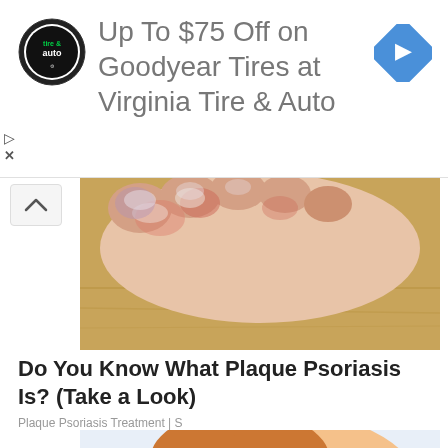[Figure (infographic): Advertisement banner for Virginia Tire & Auto offering up to $75 off Goodyear Tires, with tire & auto logo on left and blue diamond arrow icon on right]
[Figure (photo): Close-up photograph of a human foot/toes showing redness and psoriasis skin condition on a wooden floor background]
Do You Know What Plaque Psoriasis Is? (Take a Look)
Plaque Psoriasis Treatment | S
[Figure (illustration): Cartoon/comic-style illustration of a person sleeping on a pillow, shown in profile view with brown hair and stylized features]